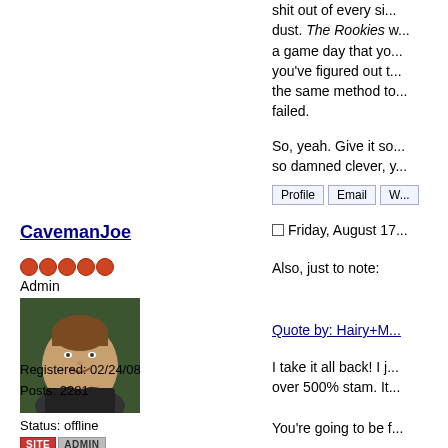shit out of every si... dust. The Rookies w... a game day that yo... you've figured out t... the same method to... failed.
So, yeah. Give it so... so damned clever, y...
Profile  Email  W...
CavemanJoe
Admin
[Figure (photo): Profile photo of CavemanJoe, a man smiling in a jacket outdoors]
Status: offline
SITE  ADMIN
Registered: 02/24/08
Posts: 2281
Friday, August 17...
Also, just to note:
Quote by: Hairy+M...
I take it all back! I j... over 500% stam. It...
You're going to be f...